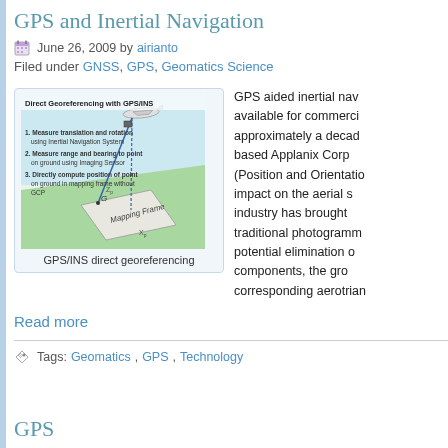GPS and Inertial Navigation
June 26, 2009 by airianto
Filed under GNSS, GPS, Geomatics Science
[Figure (illustration): Diagram showing Direct Georeferencing with GPS/INS. Shows an aircraft at top, with lines going to a ground mapping frame. Three numbered steps: 1. Measure translation and rotation using Inertial Navigation System; 2. Measure range and bearing to point on ground using Imaging Sensor; 3. Directly compute position of point on ground in mapping frame without GCP. Labels show G, Zp, Xp, and Mapping Frame.]
GPS/INS direct georeferencing
GPS aided inertial navigation has been available for commercial applications for approximately a decade. The Canadian-based Applanix Corporation's POS (Position and Orientation System) has impact on the aerial survey mapping industry has brought about changes in traditional photogrammetry, including the potential elimination of several necessary components, the ground control and corresponding aerotriangulation.
Read more
Tags: Geomatics, GPS, Technology
GPS